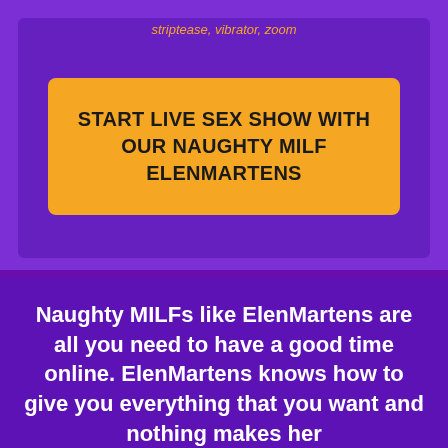striptease, vibrator, zoom
START LIVE SEX SHOW WITH OUR NAUGHTY MILF ELENMARTENS
Naughty MILFs like ElenMartens are all you need to have a good time online. ElenMartens knows how to give you everything that you want and nothing makes her